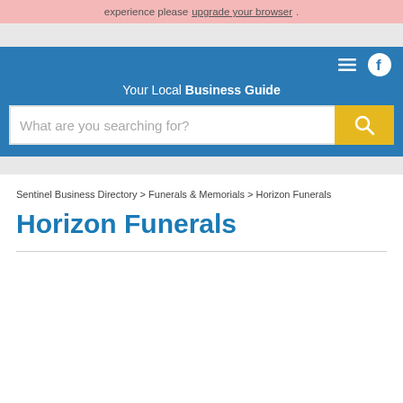experience please upgrade your browser.
[Figure (screenshot): Blue navigation header bar with menu icon and Facebook icon on the right]
Your Local Business Guide
[Figure (screenshot): Search bar with placeholder text 'What are you searching for?' and a yellow search button with magnifier icon]
Sentinel Business Directory > Funerals & Memorials > Horizon Funerals
Horizon Funerals